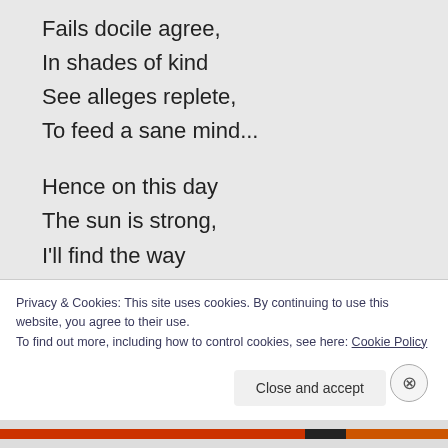Fails docile agree,
In shades of kind
See alleges replete,
To feed a sane mind...
Hence on this day
The sun is strong,
I'll find the way
To will one gone,
Ye may perceive
Be shadows found,
Privacy & Cookies: This site uses cookies. By continuing to use this website, you agree to their use.
To find out more, including how to control cookies, see here: Cookie Policy